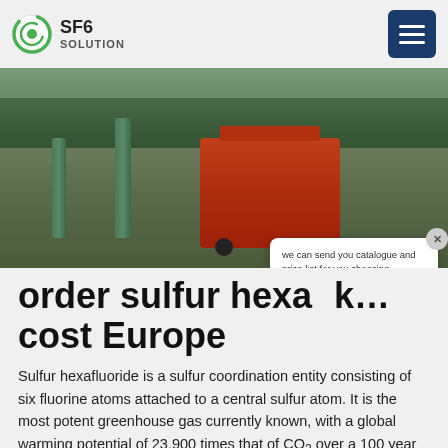SF6 SOLUTION
[Figure (photo): Warehouse/industrial facility interior showing a red portable SF6 gas handling machine on wheels, green support pillars, and a worker in the background]
order sulfur hexafluoride cost Europe
Sulfur hexafluoride is a sulfur coordination entity consisting of six fluorine atoms attached to a central sulfur atom. It is the most potent greenhouse gas currently known, with a global warming potential of 23,900 times that of CO2 over a 100 year period (sf